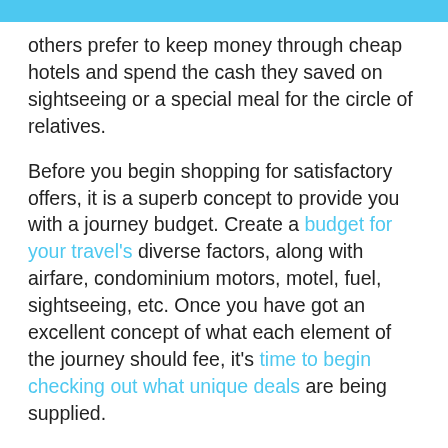others prefer to keep money through cheap hotels and spend the cash they saved on sightseeing or a special meal for the circle of relatives.
Before you begin shopping for satisfactory offers, it is a superb concept to provide you with a journey budget. Create a budget for your travel's diverse factors, along with airfare, condominium motors, motel, fuel, sightseeing, etc. Once you have got an excellent concept of what each element of the journey should fee, it's time to begin checking out what unique deals are being supplied.
So, as with different finance elements, you want to decide what's most important to you. Then store around for excellent deals.
If you are going on a holiday and are inquisitive about sightseeing, you can score huge discounts on vicinity